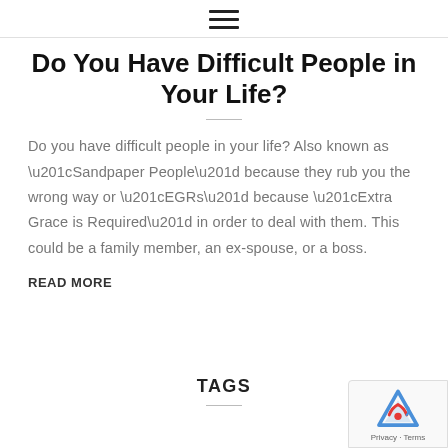☰
Do You Have Difficult People in Your Life?
Do you have difficult people in your life? Also known as “Sandpaper People” because they rub you the wrong way or “EGRs” because “Extra Grace is Required” in order to deal with them. This could be a family member, an ex-spouse, or a boss.
READ MORE
TAGS